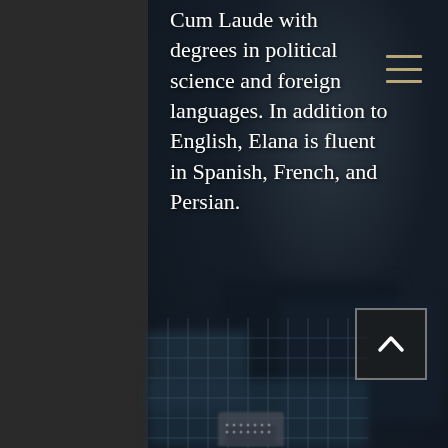[Figure (photo): Dark blurred industrial or electronic equipment/machinery photograph used as a full background image. Background is very dark blue-gray with blurred mechanical or circuit board components visible.]
Cum Laude with degrees in political science and foreign languages. In addition to English, Elana is fluent in Spanish, French, and Persian.